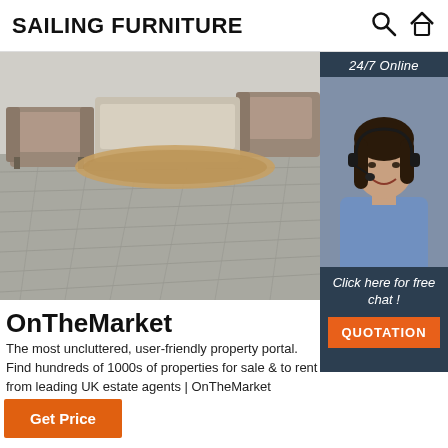SAILING FURNITURE
[Figure (photo): Living room with grey hardwood floor, two tufted armchairs and a rug. Sidebar shows a female customer service agent with headset and '24/7 Online' label, 'Click here for free chat!' text, and an orange QUOTATION button.]
OnTheMarket
The most uncluttered, user-friendly property portal. Find hundreds of 1000s of properties for sale & to rent from leading UK estate agents | OnTheMarket
Get Price